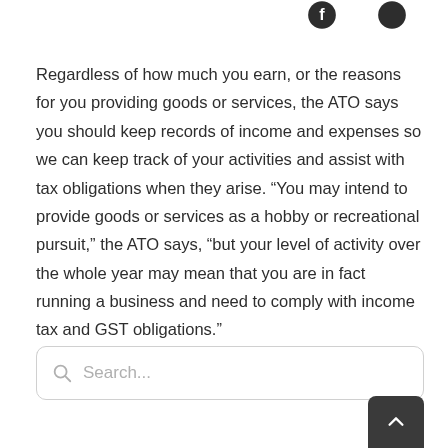Regardless of how much you earn, or the reasons for you providing goods or services, the ATO says you should keep records of income and expenses so we can keep track of your activities and assist with tax obligations when they arise. “You may intend to provide goods or services as a hobby or recreational pursuit,” the ATO says, “but your level of activity over the whole year may mean that you are in fact running a business and need to comply with income tax and GST obligations.”
Please check with this office if you have any questions.